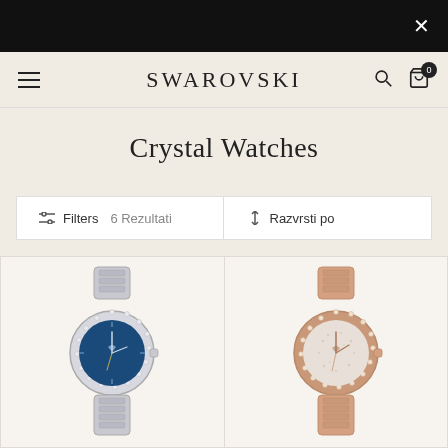×
SWAROVSKI
Crystal Watches
Filters  6 Rezultati  |  ↑↓  Razvrsti po
[Figure (photo): Swarovski crystal watch with blue dial and silver bracelet band, surrounded by crystal-set bezel]
[Figure (photo): Swarovski crystal watch with sparkly silver/white dial and rose gold bracelet band, surrounded by crystal-set bezel]